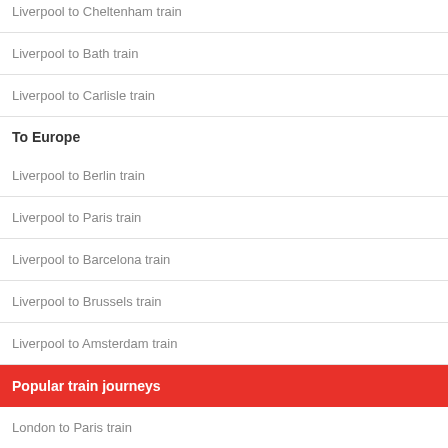Liverpool to Cheltenham train
Liverpool to Bath train
Liverpool to Carlisle train
To Europe
Liverpool to Berlin train
Liverpool to Paris train
Liverpool to Barcelona train
Liverpool to Brussels train
Liverpool to Amsterdam train
Popular train journeys
London to Paris train
London to Brighton train